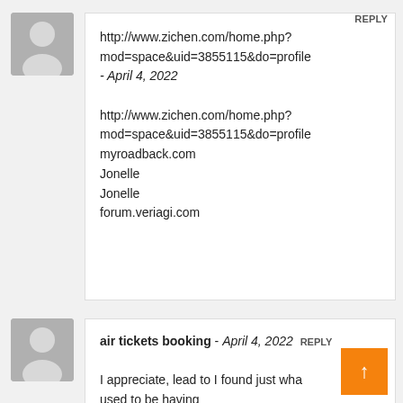http://www.zichen.com/home.php?mod=space&uid=3855115&do=profile - April 4, 2022

http://www.zichen.com/home.php?mod=space&uid=3855115&do=profile
myroadback.com
Jonelle
Jonelle
forum.veriagi.com
air tickets booking - April 4, 2022

I appreciate, lead to I found just what I used to be having a look for. You've ended my 4 day lengthy